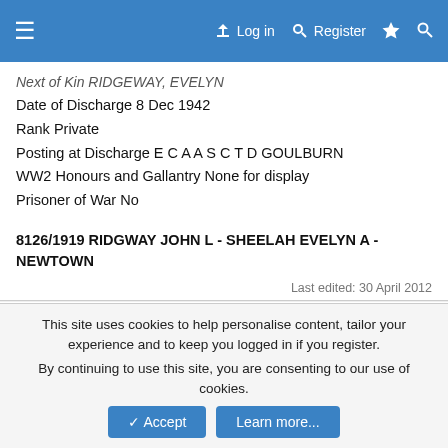≡  Log in  Register  ⚡  🔍
Next of Kin RIDGEWAY, EVELYN
Date of Discharge 8 Dec 1942
Rank Private
Posting at Discharge E C A A S C T D GOULBURN
WW2 Honours and Gallantry None for display
Prisoner of War No
8126/1919 RIDGWAY JOHN L - SHEELAH EVELYN A - NEWTOWN
Last edited: 30 April 2012
DaveHam9
Loyal Member  Staff member  Moderator
30 April 2012
#10
This site uses cookies to help personalise content, tailor your experience and to keep you logged in if you register.
By continuing to use this site, you are consenting to our use of cookies.
Accept  Learn more...